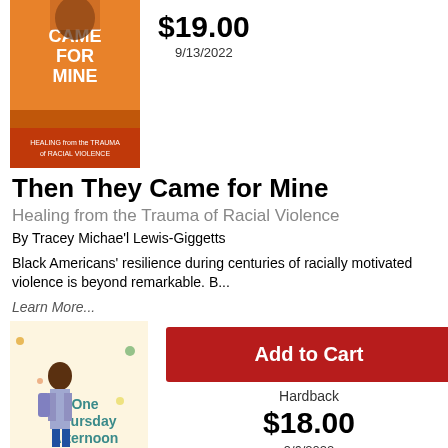[Figure (photo): Book cover of 'Then They Came for Mine: Healing from the Trauma of Racial Violence' — orange cover with woman's face partially wrapped in cloth]
$19.00
9/13/2022
Then They Came for Mine
Healing from the Trauma of Racial Violence
By Tracey Michae'l Lewis-Giggetts
Black Americans' resilience during centuries of racially motivated violence is beyond remarkable. B...
Learn More...
[Figure (photo): Book cover of 'One Thursday Afternoon' — illustrated children's book cover showing a girl with a backpack]
Add to Cart
Hardback
$18.00
9/6/2022
One Thursday Afternoon